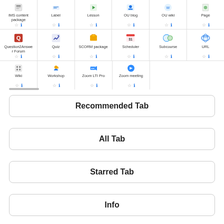[Figure (screenshot): Partial screenshot of a Moodle activity/resource chooser grid showing icons and labels for: IMS content package, Label, Lesson, OU blog, OU wiki, Page (row 1); Question2Answer Forum, Quiz, SCORM package, Scheduler, Subcourse, URL (row 2); Wiki, Workshop, Zoom LTI Pro, Zoom meeting (row 3). Each cell has a star and info icon.]
Recommended Tab
All Tab
Starred Tab
Info